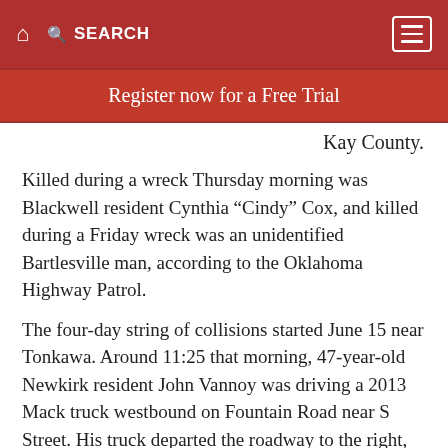SEARCH
Register now for a Free Trial
Kay County.
Killed during a wreck Thursday morning was Blackwell resident Cynthia “Cindy” Cox, and killed during a Friday wreck was an unidentified Bartlesville man, according to the Oklahoma Highway Patrol.
The four-day string of collisions started June 15 near Tonkawa. Around 11:25 that morning, 47-year-old Newkirk resident John Vannoy was driving a 2013 Mack truck westbound on Fountain Road near S Street. His truck departed the roadway to the right, and Vannoy then overcorrected, the highway patrol reported. The truck rolled, hit a culvert and struck an electrical pole.